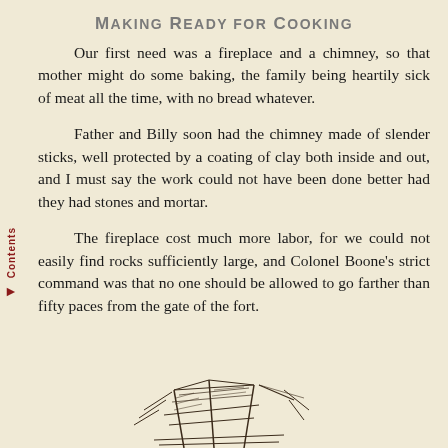Making Ready for Cooking
Our first need was a fireplace and a chimney, so that mother might do some baking, the family being heartily sick of meat all the time, with no bread whatever.
Father and Billy soon had the chimney made of slender sticks, well protected by a coating of clay both inside and out, and I must say the work could not have been done better had they had stones and mortar.
The fireplace cost much more labor, for we could not easily find rocks sufficiently large, and Colonel Boone's strict command was that no one should be allowed to go farther than fifty paces from the gate of the fort.
[Figure (illustration): Sketch illustration of a fireplace or cooking structure with sticks/logs, partially visible at bottom of page]